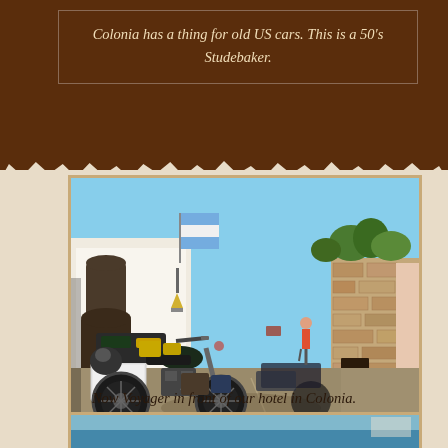Colonia has a thing for old US cars. This is a 50's Studebaker.
[Figure (photo): A loaded touring motorcycle parked on a cobblestone street in Colonia, Uruguay. Colonial buildings with white walls and stone walls line the street. An Argentine flag hangs from a building. Blue sky visible above.]
Now Voyager in front of our hotel in Colonia.
[Figure (photo): Partial view of another photo at the bottom of the page, showing blue sky or water.]